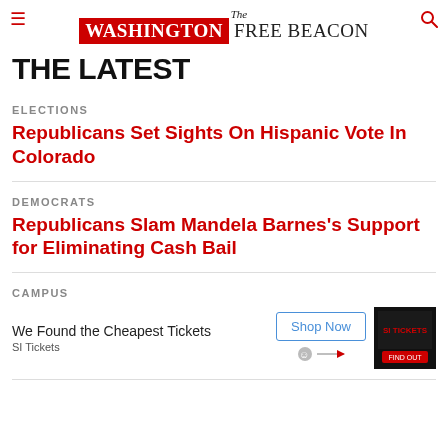The Washington Free Beacon
THE LATEST
ELECTIONS
Republicans Set Sights On Hispanic Vote In Colorado
DEMOCRATS
Republicans Slam Mandela Barnes's Support for Eliminating Cash Bail
CAMPUS
[Figure (other): Advertisement: We Found the Cheapest Tickets, SI Tickets, Shop Now button with ad image]